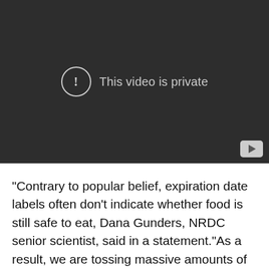[Figure (screenshot): Embedded video player showing a dark background with a circular exclamation icon and the message 'This video is private', with a YouTube play button icon in the bottom-right corner.]
"Contrary to popular belief, expiration date labels often don't indicate whether food is still safe to eat, Dana Gunders, NRDC senior scientist, said in a statement."As a result, we are tossing massive amounts of perfectly good food in the trash along with all of the resources that collections along we sit to but